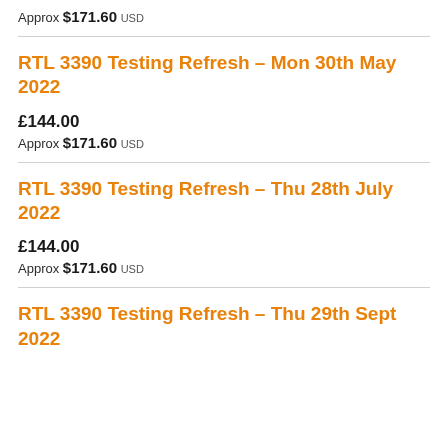Approx $171.60 USD
RTL 3390 Testing Refresh – Mon 30th May 2022
£144.00
Approx $171.60 USD
RTL 3390 Testing Refresh – Thu 28th July 2022
£144.00
Approx $171.60 USD
RTL 3390 Testing Refresh – Thu 29th Sept 2022